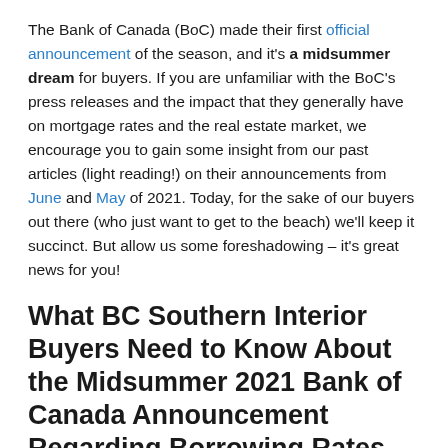The Bank of Canada (BoC) made their first official announcement of the season, and it's a midsummer dream for buyers. If you are unfamiliar with the BoC's press releases and the impact that they generally have on mortgage rates and the real estate market, we encourage you to gain some insight from our past articles (light reading!) on their announcements from June and May of 2021. Today, for the sake of our buyers out there (who just want to get to the beach) we'll keep it succinct. But allow us some foreshadowing – it's great news for you!
What BC Southern Interior Buyers Need to Know About the Midsummer 2021 Bank of Canada Announcement Regarding Borrowing Rates
Read More